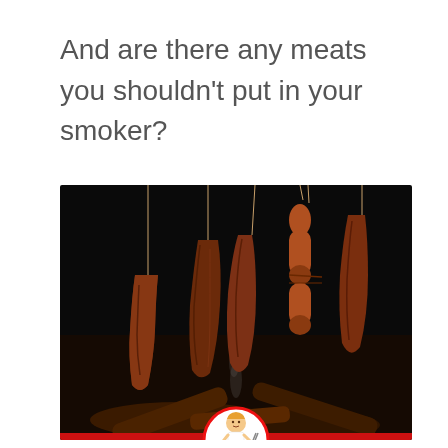And are there any meats you shouldn't put in your smoker?
[Figure (photo): Various smoked meats hanging on strings against a dark black background, with smoke rising from smoldering logs below. A circular logo of a cartoon man in a white shirt holding cooking utensils is overlaid at the bottom center.]